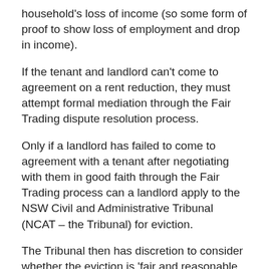household's loss of income (so some form of proof to show loss of employment and drop in income).
If the tenant and landlord can't come to agreement on a rent reduction, they must attempt formal mediation through the Fair Trading dispute resolution process.
Only if a landlord has failed to come to agreement with a tenant after negotiating with them in good faith through the Fair Trading process can a landlord apply to the NSW Civil and Administrative Tribunal (NCAT – the Tribunal) for eviction.
The Tribunal then has discretion to consider whether the eviction is 'fair and reasonable in the circumstances', taking into account factors including whether a fair offer was made (and rejected), whether the tenant had been meeting any new agreed commitments, the parties' financial circumstances, as well as health concerns and the public health perspective...